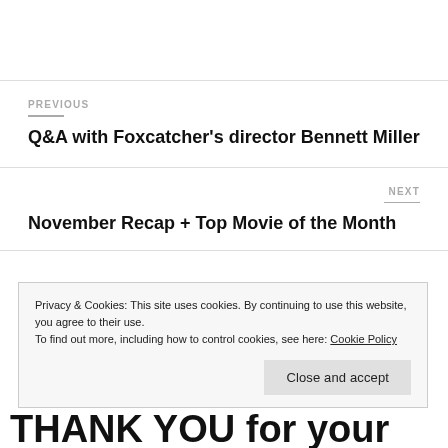PREVIOUS
Q&A with Foxcatcher's director Bennett Miller
NEXT
November Recap + Top Movie of the Month
Privacy & Cookies: This site uses cookies. By continuing to use this website, you agree to their use. To find out more, including how to control cookies, see here: Cookie Policy
Close and accept
THANK YOU for your